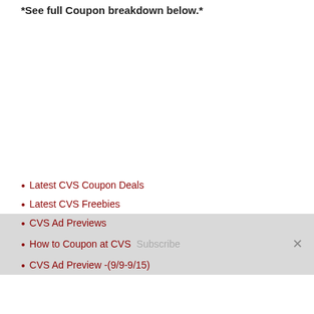*See full Coupon breakdown below.*
Latest CVS Coupon Deals
Latest CVS Freebies
CVS Ad Previews
How to Coupon at CVS
CVS Ad Preview -(9/9-9/15)